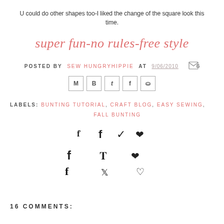U could do other shapes too-I liked the change of the square look this time.
super fun-no rules-free style
POSTED BY SEW HUNGRYHIPPIE AT 9/06/2010
[Figure (other): Social sharing icon buttons: email (M), Blogger (B), Twitter (t), Facebook (f), Pinterest (p)]
LABELS: BUNTING TUTORIAL, CRAFT BLOG, EASY SEWING, FALL BUNTING
[Figure (other): Social share icons: Facebook, Twitter, Pinterest]
16 COMMENTS: